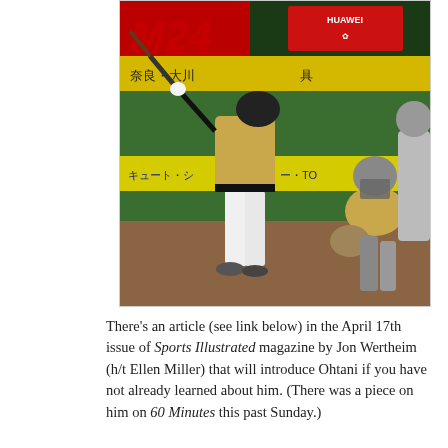[Figure (photo): A baseball player in a gold/cream uniform mid-swing at bat inside a Japanese baseball stadium. Behind him, a catcher in full gear crouches, and an umpire stands to the right. Stadium advertising boards in Japanese and a Huawei logo are visible in the background.]
There's an article (see link below) in the April 17th issue of Sports Illustrated magazine by Jon Wertheim (h/t Ellen Miller) that will introduce Ohtani if you have not already learned about him. (There was a piece on him on 60 Minutes this past Sunday.)